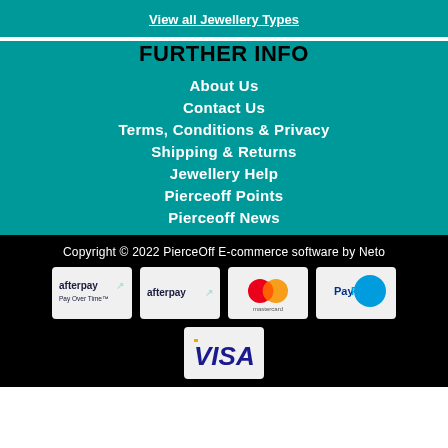View all Jewellery Types
FURTHER INFO
About Us
Contact Us
Terms, Conditions & Privacy
Shipping & Returns
Jewellery Help
Pierceoff Points
Pierceoff News
Copyright © 2022 PierceOff E-commerce software by Neto
[Figure (logo): Afterpay Pay Over Time logo]
[Figure (logo): Afterpay logo]
[Figure (logo): Mastercard logo]
[Figure (logo): PayPal logo]
[Figure (logo): Visa logo]